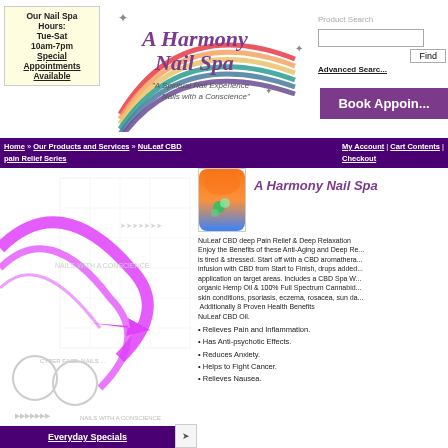Our Nail Spa Hours: Tue-Sat 10am-7pm Special Appointments Available
[Figure (logo): A Harmony Nail Spa rainbow logo with text 'A Spiritual Nail Experience Nails with a Conscience']
Product Search
Find
Advanced Search
Book Appoin...
Home » Our Products and Services » NuLeaf CBD pain Relief Series | My Account | Cart Contents | Checkout
[Figure (photo): Nail art product image - orange and blue gradient nail with floral design]
A Harmony Nail Spa
NuLeaf CBD deep Pain Relief & Deep Relaxation Enjoy the Benefits of these Anti-Aging and Deep Re... is tired & stressed. Start off with a CBD aromathera... infusion with CBD from Start to Finish, drops added... application on target areas. Includes a CBD Spa W... organic Hemp Oil & 100% Full Spectrum Cannabid... skin conditions, psoriasis, eczema, rosacea, sun da...  Additionally 8 Proven Health Benefits NuLeaf CBD Oil.
• Relieves Pain and Inflammation.
• Has Anti-psychotic Effects.
• Reduces Anxiety.
• Helps to Fight Cancer.
• Relieves Nausea.
Everyday Specials